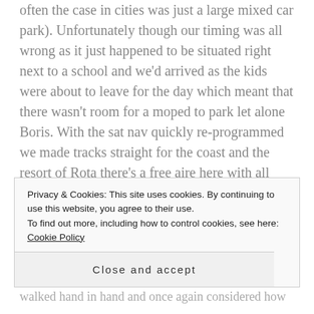often the case in cities was just a large mixed car park). Unfortunately though our timing was all wrong as it just happened to be situated right next to a school and we'd arrived as the kids were about to leave for the day which meant that there wasn't room for a moped to park let alone Boris. With the sat nav quickly re-programmed we made tracks straight for the coast and the resort of Rota there's a free aire here with all services and right next to a rugged beach (GPS 36.63726-6.39198).  With Boris parked up and the sun shining after a quick chat with our new neighbours from Belgium we headed off for a walk through the
Privacy & Cookies: This site uses cookies. By continuing to use this website, you agree to their use.
To find out more, including how to control cookies, see here: Cookie Policy
Close and accept
walked hand in hand and once again considered how